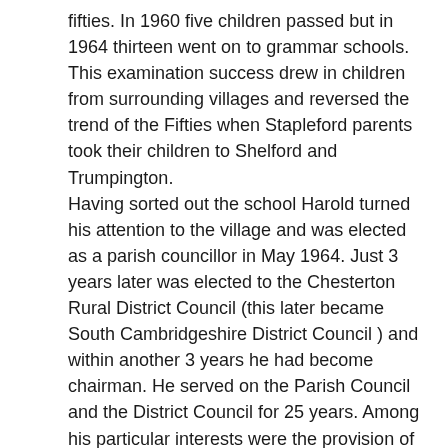fifties. In 1960 five children passed but in 1964 thirteen went on to grammar schools. This examination success drew in children from surrounding villages and reversed the trend of the Fifties when Stapleford parents took their children to Shelford and Trumpington. Having sorted out the school Harold turned his attention to the village and was elected as a parish councillor in May 1964. Just 3 years later was elected to the Chesterton Rural District Council (this later became South Cambridgeshire District Council ) and within another 3 years he had become chairman. He served on the Parish Council and the District Council for 25 years. Among his particular interests were the provision of better sports facilities and while nothing in Stapleford is named after him, he is remembered in Cottenham where a plaque on the wall shows that the